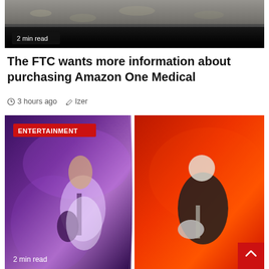[Figure (photo): Top image showing a dark outdoor scene, partially visible, with a '2 min read' badge overlay at the bottom left]
The FTC wants more information about purchasing Amazon One Medical
3 hours ago   Izer
[Figure (photo): Split entertainment photo: left half shows a female guitarist performing under purple stage lighting, right half shows a male guitarist performing against a red background. ENTERTAINMENT category badge in top left. '2 min read' label at bottom left.]